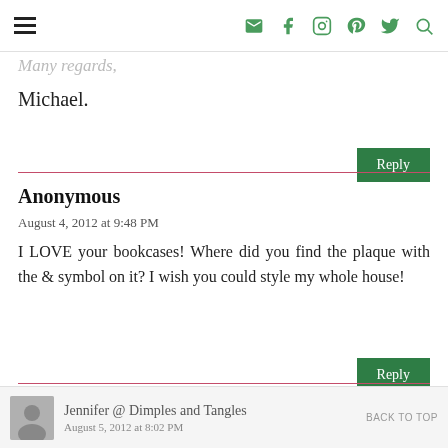Navigation header with hamburger menu and social icons
Many regards,
Michael.
Reply
Anonymous
August 4, 2012 at 9:48 PM
I LOVE your bookcases! Where did you find the plaque with the & symbol on it? I wish you could style my whole house!
Reply
Jennifer @ Dimples and Tangles  BACK TO TOP  August 5, 2012 at 8:02 PM